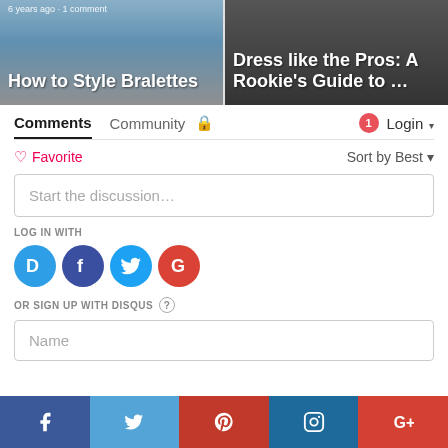[Figure (screenshot): Two article thumbnail cards side by side. Left card shows 'How to Style Bralettes' with meta text '6 years ago · 1 comment'. Right card shows 'Dress like the Pros: A Rookie's Guide to ...']
Comments   Community   🔒   1   Login ▾
♡ Favorite   Sort by Best ▾
Start the discussion…
LOG IN WITH
[Figure (logo): Four social login icons: Disqus (blue D), Facebook (dark blue f), Twitter (blue bird), Google (red G)]
OR SIGN UP WITH DISQUS ?
Name
[Figure (infographic): Bottom share bar with social media icons: Facebook (dark blue), Twitter (light blue), Pinterest (red), Instagram (dark blue), Google+ (red-orange)]